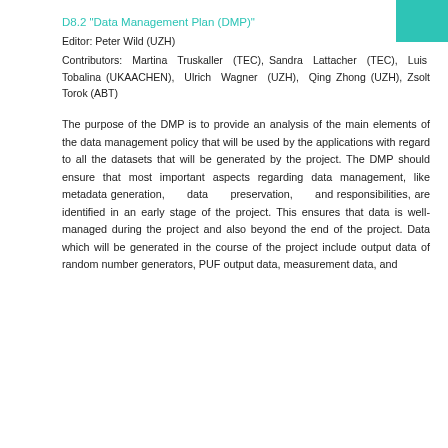D8.2 "Data Management Plan (DMP)"
Editor: Peter Wild (UZH)
Contributors: Martina Truskaller (TEC), Sandra Lattacher (TEC), Luis Tobalina (UKAACHEN), Ulrich Wagner (UZH), Qing Zhong (UZH), Zsolt Torok (ABT)
The purpose of the DMP is to provide an analysis of the main elements of the data management policy that will be used by the applications with regard to all the datasets that will be generated by the project. The DMP should ensure that most important aspects regarding data management, like metadata generation, data preservation, and responsibilities, are identified in an early stage of the project. This ensures that data is well-managed during the project and also beyond the end of the project. Data which will be generated in the course of the project include output data of random number generators, PUF output data, measurement data, and